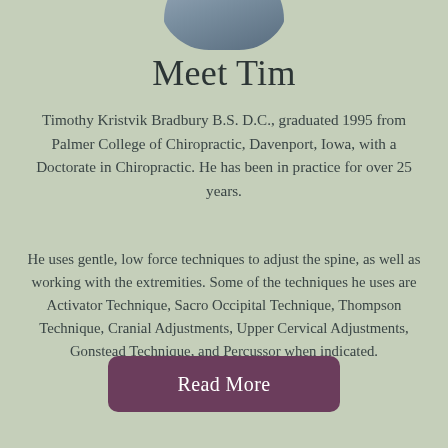[Figure (photo): Partial photo of Tim Bradbury at top of page, cropped circular portrait]
Meet Tim
Timothy Kristvik Bradbury B.S. D.C., graduated 1995 from Palmer College of Chiropractic, Davenport, Iowa, with a Doctorate in Chiropractic. He has been in practice for over 25 years.
He uses gentle, low force techniques to adjust the spine, as well as working with the extremities. Some of the techniques he uses are Activator Technique, Sacro Occipital Technique, Thompson Technique, Cranial Adjustments, Upper Cervical Adjustments, Gonstead Technique, and Percussor when indicated.
Read More